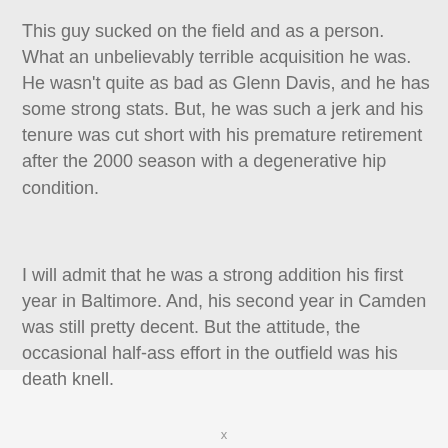This guy sucked on the field and as a person. What an unbelievably terrible acquisition he was. He wasn't quite as bad as Glenn Davis, and he has some strong stats. But, he was such a jerk and his tenure was cut short with his premature retirement after the 2000 season with a degenerative hip condition.
I will admit that he was a strong addition his first year in Baltimore. And, his second year in Camden was still pretty decent. But the attitude, the occasional half-ass effort in the outfield was his death knell.
x